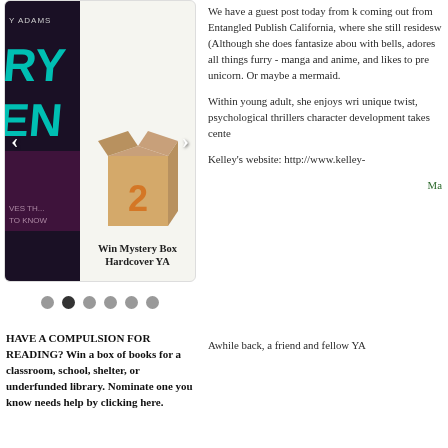[Figure (screenshot): Carousel/slider showing a book cover on the left (RY ADAMS, text visible) and a mystery cardboard box on the right, with left and right navigation arrows. Below the box is label 'Win Mystery Box Hardcover YA'. Six navigation dots appear below the slider, with the second dot active.]
HAVE A COMPULSION FOR READING? Win a box of books for a classroom, school, shelter, or underfunded library. Nominate one you know needs help by clicking here.
We have a guest post today from k coming out from Entangled Publish California, where she still residesw (Although she does fantasize abou with bells, adores all things furry - manga and anime, and likes to pre unicorn. Or maybe a mermaid.
Within young adult, she enjoys wri unique twist, psychological thrillers character development takes cente
Kelley's website: http://www.kelley-
Ma
Awhile back, a friend and fellow YA